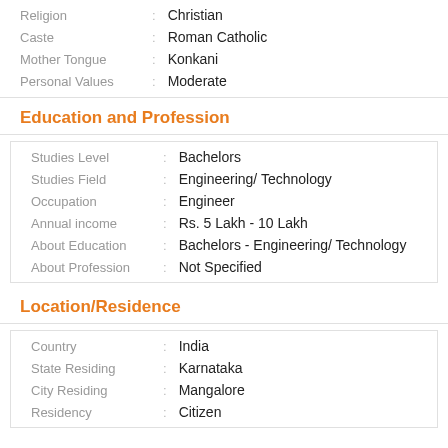Religion : Christian
Caste : Roman Catholic
Mother Tongue : Konkani
Personal Values : Moderate
Education and Profession
Studies Level : Bachelors
Studies Field : Engineering/ Technology
Occupation : Engineer
Annual income : Rs. 5 Lakh - 10 Lakh
About Education : Bachelors - Engineering/ Technology
About Profession : Not Specified
Location/Residence
Country : India
State Residing : Karnataka
City Residing : Mangalore
Residency : Citizen